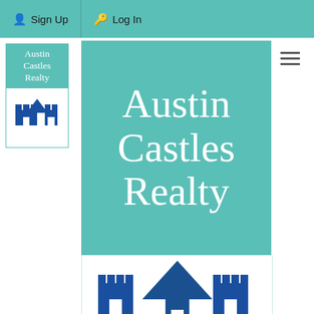Sign Up  Log In
[Figure (logo): Austin Castles Realty small logo with teal text box and blue castle icon]
[Figure (logo): Austin Castles Realty large logo: teal background with white serif text 'Austin Castles Realty' and below it a white section showing blue castle/building icons]